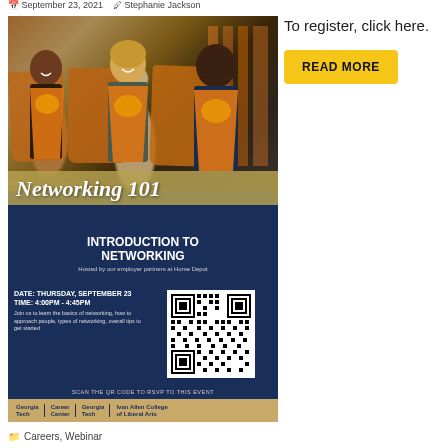September 23, 2021  Stephanie Jackson
[Figure (photo): Event flyer for Networking 101: Introduction to Networking, hosted by Home Depot employer partners. Features photo of Home Depot associates in orange aprons, event details (Date: Thursday, September 23, Time: 4:00PM - 4:45PM), a QR code to RSVP, description text about learning networking basics, and logos for Georgia Tech Career Center, Georgia Tech, and Ivan Allen College of Liberal Arts.]
To register, click here.
READ MORE
Careers, Webinar